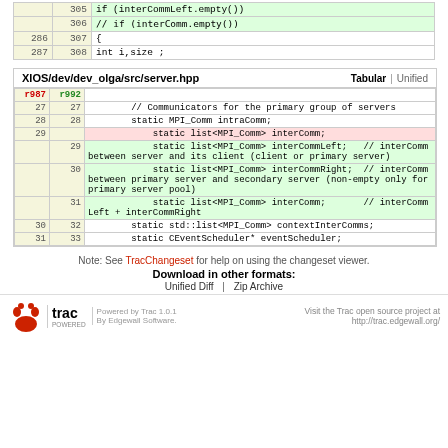|  |  | code |
| --- | --- | --- |
|  | 305 |     if (interCommLeft.empty()) |
|  | 306 | //      if (interComm.empty()) |
| 286 | 307 |     { |
| 287 | 308 |         int i,size ; |
| XIOS/dev/dev_olga/src/server.hpp | Tabular | Unified |
| --- | --- | --- |
| r987 | r992 |  |
| 27 | 27 |         // Communicators for the primary group of servers |
| 28 | 28 |         static MPI_Comm intraComm; |
| 29 |  |             static list<MPI_Comm> interComm; |
|  | 29 |             static list<MPI_Comm> interCommLeft;   // interComm between server and its client (client or primary server) |
|  | 30 |             static list<MPI_Comm> interCommRight;  // interComm between primary server and secondary server (non-empty only for primary server pool) |
|  | 31 |             static list<MPI_Comm> interComm;       // interCommLeft + interCommRight |
| 30 | 32 |         static std::list<MPI_Comm> contextInterComms; |
| 31 | 33 |         static CEventScheduler* eventScheduler; |
Note: See TracChangeset for help on using the changeset viewer.
Download in other formats:
Unified Diff | Zip Archive
Powered by Trac 1.0.1 By Edgewall Software. Visit the Trac open source project at http://trac.edgewall.org/